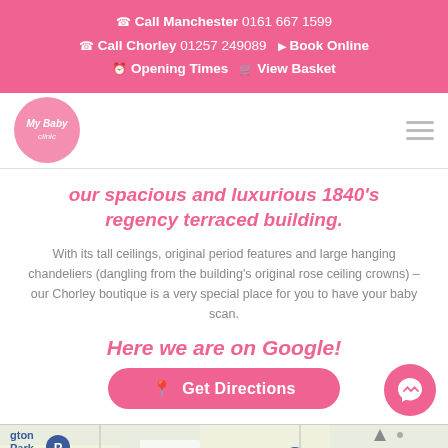Call Manchester 0161 667 1599 | Call Chorley 01257 249089 | Book Online | Opening Times | View Basket
[Figure (logo): My Baby clinic circular pink logo with italic script text]
our spacious and luxurious 1840's regency terraced building.
With its tall ceilings, original period features and large hanging chandeliers (dangling from the building's original rose ceiling crowns) – our Chorley boutique is a very special place for you to have your baby scan.
Here we are on Google!
[Figure (other): Pink rounded button with location pin icon reading 'Get Directions', and a pink circular Facebook Messenger chat bubble on the right]
[Figure (map): Partial Google Maps view showing Booths supermarket marker and parking area with labels 'gton Park' and 'Booths']